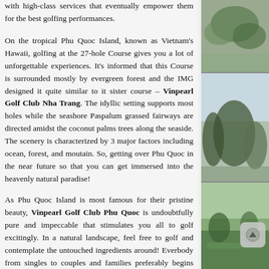with high-class services that eventually empower them for the best golfing performances.
On the tropical Phu Quoc Island, known as Vietnam’s Hawaii, golfing at the 27-hole Course gives you a lot of unforgettable experiences. It’s informed that this Course is surrounded mostly by evergreen forest and the IMG designed it quite similar to it sister course – Vinpearl Golf Club Nha Trang. The idyllic setting supports most holes while the seashore Paspalum grassed fairways are directed amidst the coconut palms trees along the seaside. The scenery is characterized by 3 major factors including ocean, forest, and moutain. So, getting over Phu Quoc in the near future so that you can get immersed into the heavenly natural paradise!
As Phu Quoc Island is most famous for their pristine beauty, Vinpearl Golf Club Phu Quoc is undoubtfully pure and impeccable that stimulates you all to golf excitingly. In a natural landscape, feel free to golf and contemplate the untouched ingredients around! Everbody from singles to couples and families preferably begins booking Golf Tour Packages for days in Vinpearl Golf Club Phu Quoc so that they can accelebrate their free moment very well.
Along your way to Phu Quoc Island for golfing enjoyment, also promote your stay in Vinpearl Amusement Park and enjoy various
[Figure (photo): Outdoor photo - top right image showing green foliage/trees]
[Figure (photo): Outdoor photo - middle right image showing trees and sky]
[Figure (photo): Outdoor photo - bottom right image showing green golf course/lawn]